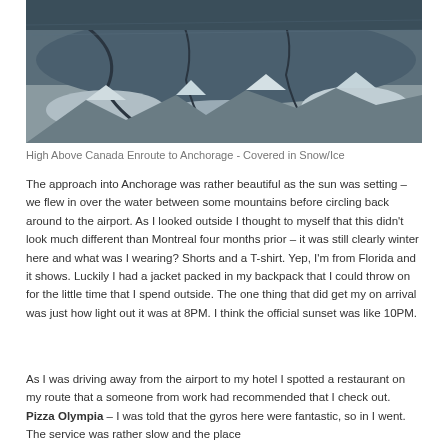[Figure (photo): Aerial photograph taken high above Canada enroute to Anchorage, showing snow and ice covered terrain with dark water channels and rocky formations]
High Above Canada Enroute to Anchorage - Covered in Snow/Ice
The approach into Anchorage was rather beautiful as the sun was setting – we flew in over the water between some mountains before circling back around to the airport.  As I looked outside I thought to myself that this didn't look much different than Montreal four months prior – it was still clearly winter here and what was I wearing? Shorts and a T-shirt.  Yep, I'm from Florida and it shows.  Luckily I had a jacket packed in my backpack that I could throw on for the little time that I spend outside.  The one thing that did get my on arrival was just how light out it was at 8PM.  I think the official sunset was like 10PM.
As I was driving away from the airport to my hotel I spotted a restaurant on my route that a someone from work had recommended that I check out.  Pizza Olympia – I was told that the gyros here were fantastic, so in I went.  The service was rather slow and the place